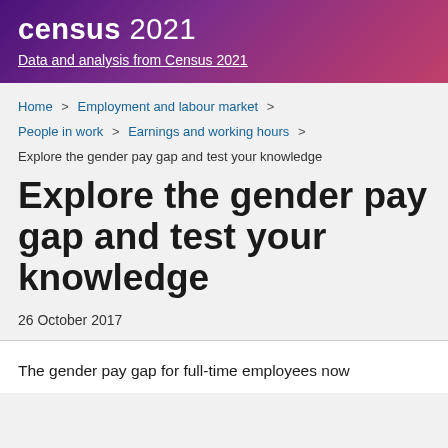census 2021
Data and analysis from Census 2021
Home > Employment and labour market > People in work > Earnings and working hours >
Explore the gender pay gap and test your knowledge
Explore the gender pay gap and test your knowledge
26 October 2017
The gender pay gap for full-time employees now